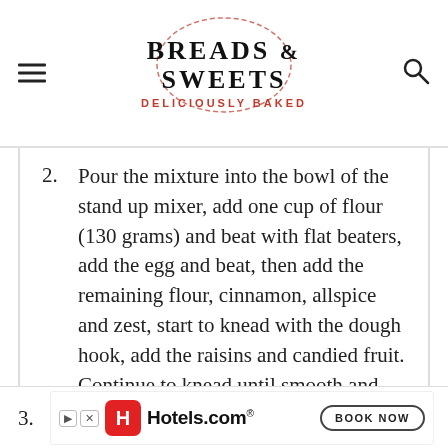BREADS & SWEETS
DELICIOUSLY BAKED
2. Pour the mixture into the bowl of the stand up mixer, add one cup of flour (130 grams) and beat with flat beaters, add the egg and beat, then add the remaining flour, cinnamon, allspice and zest, start to knead with the dough hook, add the raisins and candied fruit. Continue to knead until smooth and pull away from the sides of the bowl, about 4 minutes
3.
[Figure (screenshot): Hotels.com advertisement banner with red H logo, Hotels.com text, and a BOOK NOW button]